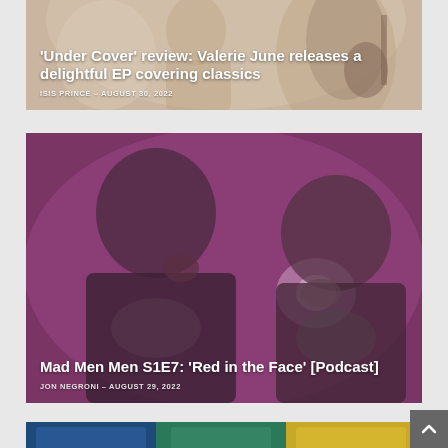[Figure (photo): Article card with background photo of a woman with a guitar, warm tan/sepia tones]
'Under Cover' review: Valerie June releases a delightful EP covering classics
ISIS PRINCE – AUGUST 30, 2022
[Figure (photo): Article card with background photo of two men in conversation, overlaid with purple/magenta tint]
Mad Men Men S1E7: 'Red in the Face' [Podcast]
JON NEGRONI – AUGUST 29, 2022
[Figure (photo): Partial article card at bottom with colorful background, partially visible]